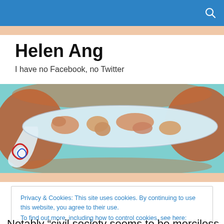Helen Ang
I have no Facebook, no Twitter
[Figure (illustration): Illustrated image of a flat world map on a surfboard-shaped object with stylized swirling patterns, in tones of blue, orange, red, on a textured background.]
Privacy & Cookies: This site uses cookies. By continuing to use this website, you agree to their use.
To find out more, including how to control cookies, see here: Cookie Policy
Close and accept
Notably “civil society seems to be merciless in their